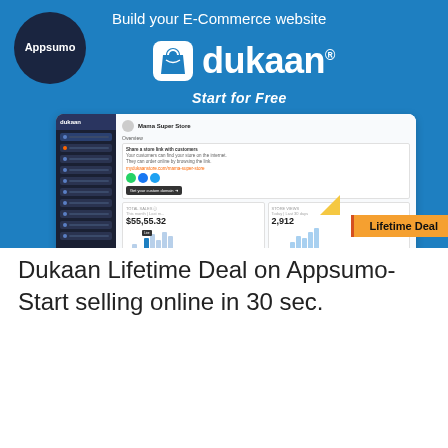[Figure (screenshot): Dukaan e-commerce platform promotional banner on Appsumo. Shows Appsumo logo circle, 'Build your E-Commerce website' text, Dukaan logo with shopping bag icon, 'Start for Free' tagline, and a screenshot of the Dukaan dashboard showing store analytics with $55,55.32 total sales and 2,912 store views, plus a 'Lifetime Deal' badge.]
Dukaan Lifetime Deal on Appsumo- Start selling online in 30 sec.
[Figure (screenshot): Appsumo promotional banner for markopolo.ai showing 'Automate your Ad Campaign' text with Appsumo circle logo and markopolo.ai branding with stylized M icon.]